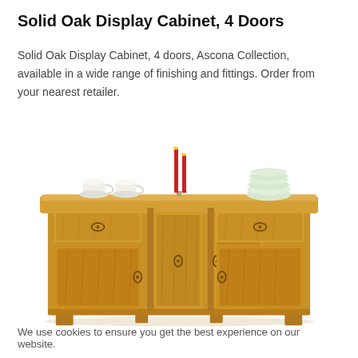Solid Oak Display Cabinet, 4 Doors
Solid Oak Display Cabinet, 4 doors, Ascona Collection, available in a wide range of finishing and fittings. Order from your nearest retailer.
[Figure (photo): Photo of a solid oak sideboard/display cabinet with 3 front-facing doors, 2 drawers, warm honey-oak finish, decorated with cups, candle holders and stacked plates on top.]
We use cookies to ensure you get the best experience on our website.